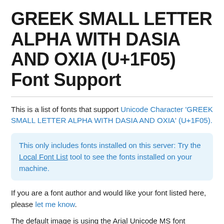GREEK SMALL LETTER ALPHA WITH DASIA AND OXIA (U+1F05) Font Support
This is a list of fonts that support Unicode Character 'GREEK SMALL LETTER ALPHA WITH DASIA AND OXIA' (U+1F05).
This only includes fonts installed on this server: Try the Local Font List tool to see the fonts installed on your machine.
If you are a font author and would like your font listed here, please let me know.
The default image is using the Arial Unicode MS font